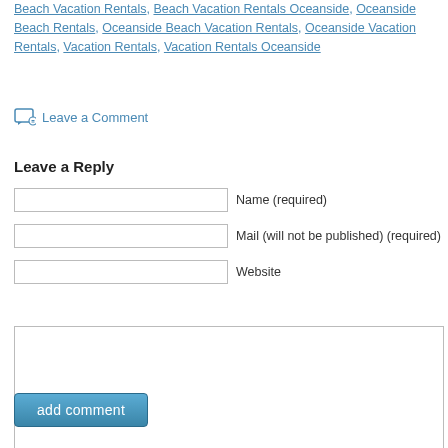Beach Vacation Rentals, Beach Vacation Rentals Oceanside, Oceanside Beach Rentals, Oceanside Beach Vacation Rentals, Oceanside Vacation Rentals, Vacation Rentals, Vacation Rentals Oceanside
Leave a Comment
Leave a Reply
Name (required)
Mail (will not be published) (required)
Website
add comment